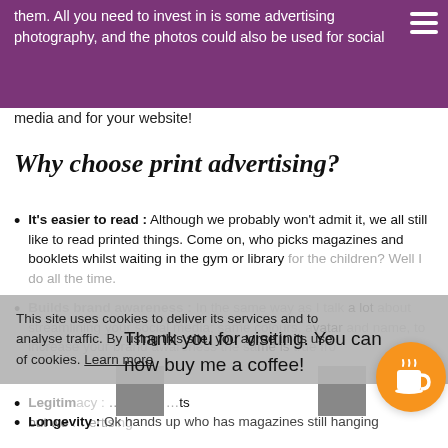them. All you need to invest in is some advertising photography, and the photos could also be used for social media and for your website!
Why choose print advertising?
It's easier to read : Although we probably won't admit it, we all still like to read printed things. Come on, who picks magazines and booklets whilst waiting in the gym or library for the children? Well I do all the time.
Builds brand awareness : In the same way as I talk a lot about streamlining your social media; same colours, avatar and name, to increase your brand awareness the same is true fro
Legitim... online... ts but we... ertis...
Longevity : Ok hands up who has magazines still hanging